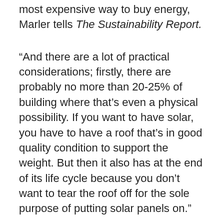most expensive way to buy energy, Marler tells The Sustainability Report.
“And there are a lot of practical considerations; firstly, there are probably no more than 20-25% of building where that’s even a physical possibility. If you want to have solar, you have to have a roof that’s in good quality condition to support the weight. But then it also has at the end of its life cycle because you don’t want to tear the roof off for the sole purpose of putting solar panels on.”
In 2018, Los Angeles Convention Center installed an on-site solar system that covers around 17% of its annual electric power usage and reduces the venue’s